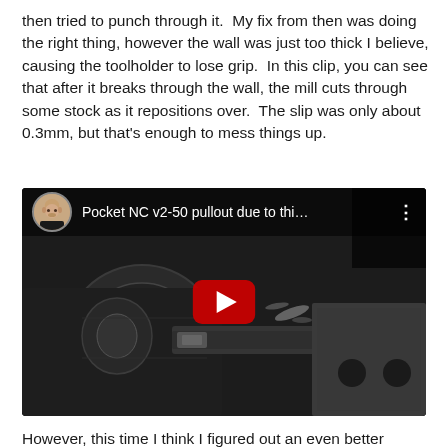then tried to punch through it.  My fix from then was doing the right thing, however the wall was just too thick I believe, causing the toolholder to lose grip.  In this clip, you can see that after it breaks through the wall, the mill cuts through some stock as it repositions over.  The slip was only about 0.3mm, but that's enough to mess things up.
[Figure (screenshot): YouTube video thumbnail showing a CNC machine (Pocket NC v2-50) with a red play button overlay. Video title reads 'Pocket NC v2-50 pullout due to thi...' with a user avatar on the top left.]
However, this time I think I figured out an even better